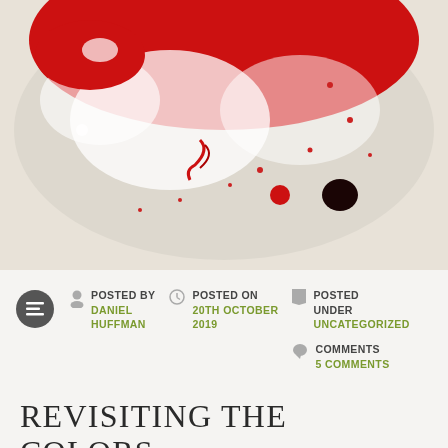[Figure (photo): Close-up photo of a red and white oval object (possibly a jelly bean or candy) with red dye swirling on a white/cream surface, and a dark spot visible on the right side.]
POSTED BY DANIEL HUFFMAN
POSTED ON 20TH OCTOBER 2019
POSTED UNDER UNCATEGORIZED
COMMENTS 5 COMMENTS
REVISITING THE COLORS